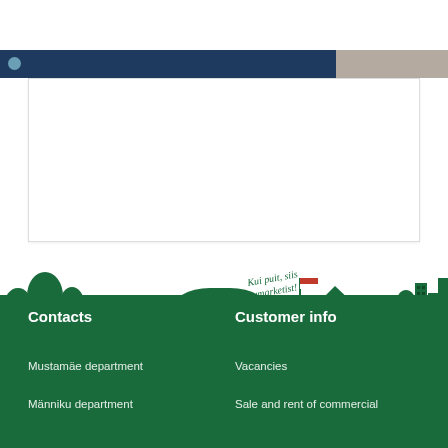[Figure (illustration): Top portion of a webpage showing a dark navy and beige banner strip at the top, with a white content box below it. The page appears to be a website for a wood/building materials company.]
[Figure (illustration): Footer illustration of a green cityscape/town silhouette with trees, buildings, a store with a yellow Puumarket sign, houses, a flag, vehicles, and handwritten text reading 'Kui puit, siis Puumarketist!' over a dark green background.]
Contacts
Mustamäe department
Männiku department
Customer info
Vacancies
Sale and rent of commercial